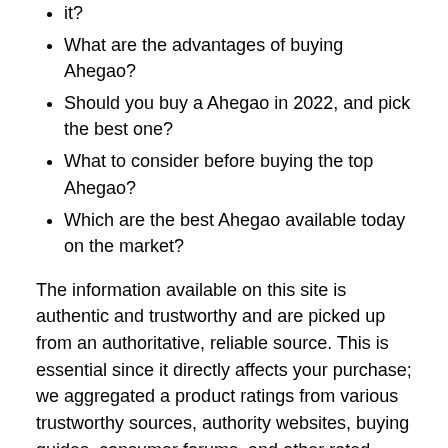it?
What are the advantages of buying Ahegao?
Should you buy a Ahegao in 2022, and pick the best one?
What to consider before buying the top Ahegao?
Which are the best Ahegao available today on the market?
The information available on this site is authentic and trustworthy and are picked up from an authoritative, reliable source. This is essential since it directly affects your purchase; we aggregated a product ratings from various trustworthy sources, authority websites, buying guides, consumer forums, and other rated websites. Researching before purchase is essential so we offer enough information about Ahegao to help you decide about what you are going to buy.
We additionally provide top-rated Ahegao detailed buying guide with actually correct, unbiased, and actual facts. Our information is regulated with the aid of Artificial Intelligence - dependable on-line assets, which take up the obligation to